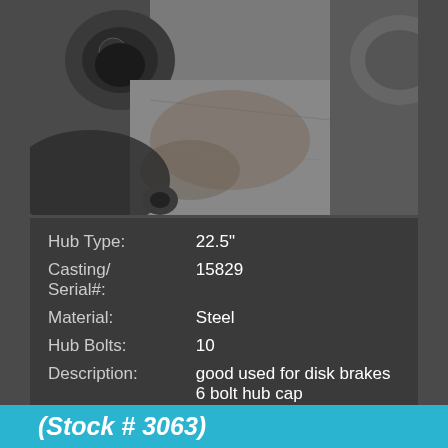[Figure (photo): Close-up photo of a worn steel hub with bolts visible, showing rust and dirt on the surface, industrial vehicle wheel hub component]
| Hub Type: | 22.5" |
| Casting/ Serial#: | 15829 |
| Material: | Steel |
| Hub Bolts: | 10 |
| Description: | good used for disk brakes 6 bolt hub cap |
Click for full part details
(Stock # 3063)